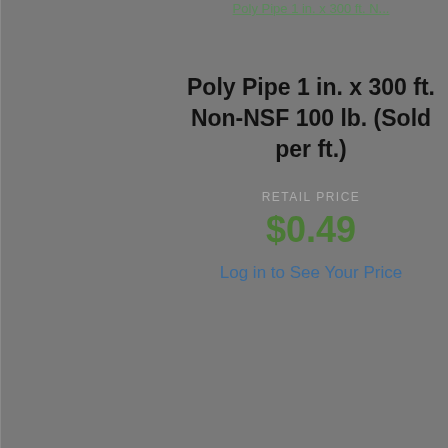[Figure (screenshot): Product image placeholder for Poly Pipe 1 in. x 300 ft. Non-NSF 100 lb. (left card)]
Poly Pipe 1 in. x 300 ft. Non-NSF 100 lb. (Sold per ft.)
RETAIL PRICE
$0.49
Log in to See Your Price
[Figure (screenshot): Product image placeholder for Poly Pipe 1 in. x 300 ft. Non-NSF 100 lb. (right card, partially cropped)]
Poly Pipe 1 in. x 300 ft. Non-NSF 100 lb. (Sold per ft.) [partially visible]
RETAIL PRICE
$0.61
Log in to See Your Price [partially visible]
Contact Your Branch
(703)-661-8252
Add to Cart
Prices may vary from branch to branch and